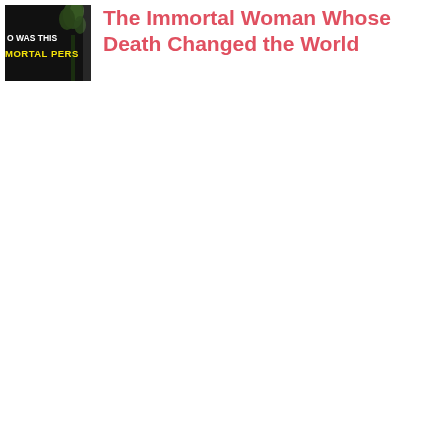[Figure (photo): Thumbnail image with dark background showing a plant/figure silhouette. Text overlay reads 'WAS THIS' in white and 'MORTAL PERS' (partially visible) in yellow, suggesting a book or video cover.]
The Immortal Woman Whose Death Changed the World